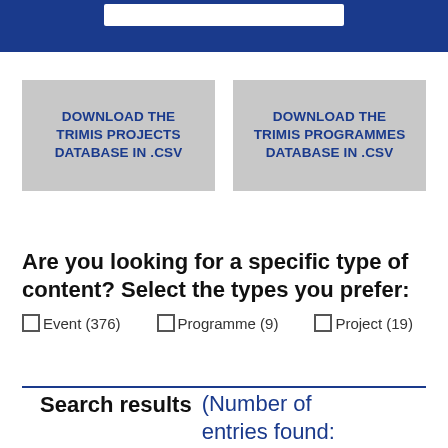DOWNLOAD THE TRIMIS PROJECTS DATABASE IN .CSV
DOWNLOAD THE TRIMIS PROGRAMMES DATABASE IN .CSV
Are you looking for a specific type of content? Select the types you prefer:
Event (376)
Programme (9)
Project (19)
Search results (Number of entries found: